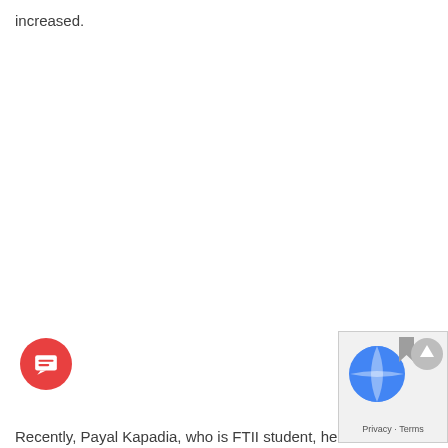increased.
Recently, Payal Kapadia, who is FTII student, her film has